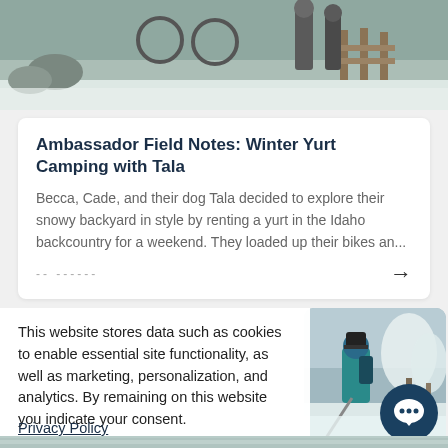[Figure (photo): Top portion of a snowy outdoor scene with people standing near bikes and a wooden fence structure]
Ambassador Field Notes: Winter Yurt Camping with Tala
Becca, Cade, and their dog Tala decided to explore their snowy backyard in style by renting a yurt in the Idaho backcountry for a weekend. They loaded up their bikes an...
-- ------
This website stores data such as cookies to enable essential site functionality, as well as marketing, personalization, and analytics. By remaining on this website you indicate your consent.
Privacy Policy
[Figure (photo): A person in winter gear with a backpack and ski poles standing in a snowy forest scene with snow-covered trees]
[Figure (illustration): Dark teal circular chat bubble icon]